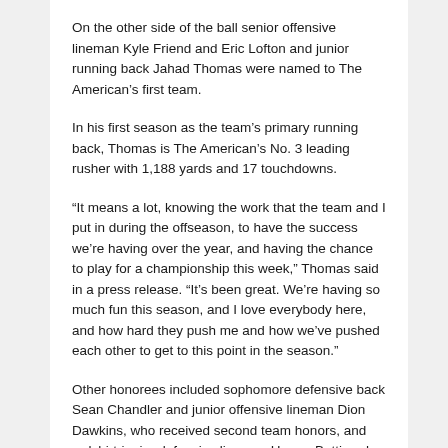On the other side of the ball senior offensive lineman Kyle Friend and Eric Lofton and junior running back Jahad Thomas were named to The American's first team.
In his first season as the team's primary running back, Thomas is The American's No. 3 leading rusher with 1,188 yards and 17 touchdowns.
“It means a lot, knowing the work that the team and I put in during the offseason, to have the success we’re having over the year, and having the chance to play for a championship this week,” Thomas said in a press release. “It's been great. We’re having so much fun this season, and I love everybody here, and how hard they push me and how we’ve pushed each other to get to this point in the season.”
Other honorees included sophomore defensive back Sean Chandler and junior offensive lineman Dion Dawkins, who received second team honors, and redshirt-junior defensive lineman Homer Bettis, who...